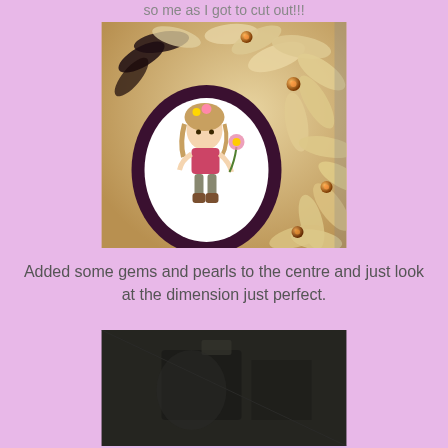so me as I got to cut out!!!
[Figure (photo): A handmade greeting card with large cream/beige paper flowers arranged around a dark scalloped oval frame, inside which is a Tilda-style stamped and coloured image of a girl holding a flower. Orange/amber gems are attached to the centres of the flowers. Dark brown card stock background.]
Added some gems and pearls to the centre and just look at the dimension just perfect.
[Figure (photo): Partial view of a dark-coloured handmade card, showing the bottom portion with dark background.]